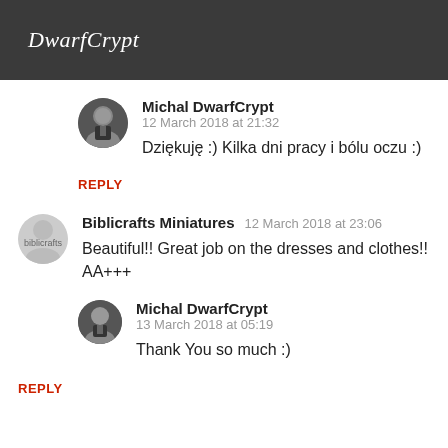DwarfCrypt
Michal DwarfCrypt
12 March 2018 at 21:32
Dziękuję :) Kilka dni pracy i bólu oczu :)
REPLY
Biblicrafts Miniatures  12 March 2018 at 23:06
Beautiful!! Great job on the dresses and clothes!! AA+++
Michal DwarfCrypt
13 March 2018 at 05:19
Thank You so much :)
REPLY